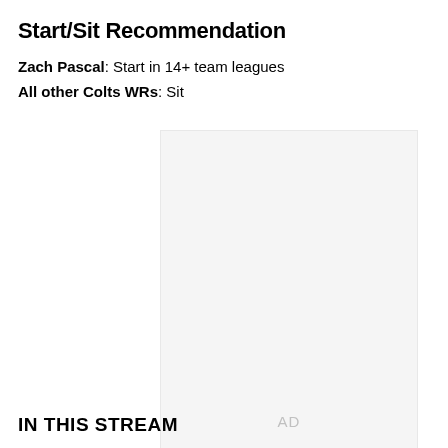Start/Sit Recommendation
Zach Pascal: Start in 14+ team leagues
All other Colts WRs: Sit
[Figure (other): Advertisement placeholder box with 'AD' label in light gray]
IN THIS STREAM